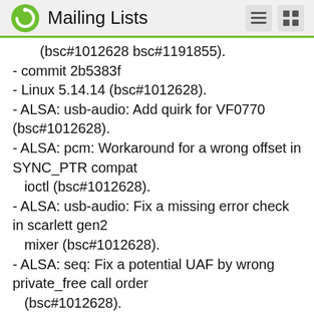Mailing Lists
(bsc#1012628 bsc#1191855).
- commit 2b5383f
- Linux 5.14.14 (bsc#1012628).
- ALSA: usb-audio: Add quirk for VF0770 (bsc#1012628).
- ALSA: pcm: Workaround for a wrong offset in SYNC_PTR compat ioctl (bsc#1012628).
- ALSA: usb-audio: Fix a missing error check in scarlett gen2 mixer (bsc#1012628).
- ALSA: seq: Fix a potential UAF by wrong private_free call order (bsc#1012628).
- ALSA: hda/realtek: Enable 4-speaker output for Dell Precision 5560 laptop (bsc#1012628).